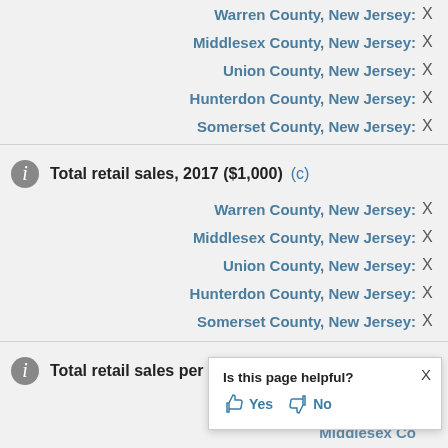Warren County, New Jersey: X
Middlesex County, New Jersey: X
Union County, New Jersey: X
Hunterdon County, New Jersey: X
Somerset County, New Jersey: X
Total retail sales, 2017 ($1,000) (c)
Warren County, New Jersey: X
Middlesex County, New Jersey: X
Union County, New Jersey: X
Hunterdon County, New Jersey: X
Somerset County, New Jersey: X
Total retail sales per capita, 2017 (c)
Warren County, New Jersey: (partial, cut off)
Middlesex County, New Jersey: (partial, cut off)